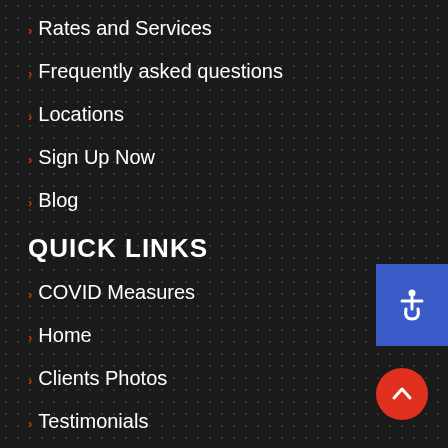> Rates and Services
> Frequently asked questions
> Locations
> Sign Up Now
> Blog
QUICK LINKS
> COVID Measures
> Home
> Clients Photos
> Testimonials
> About Me
> The Team
[Figure (illustration): Blue accessibility icon button (wheelchair person symbol) in top-right corner]
[Figure (illustration): Red circular back-to-top button with upward chevron arrow in bottom-right corner]